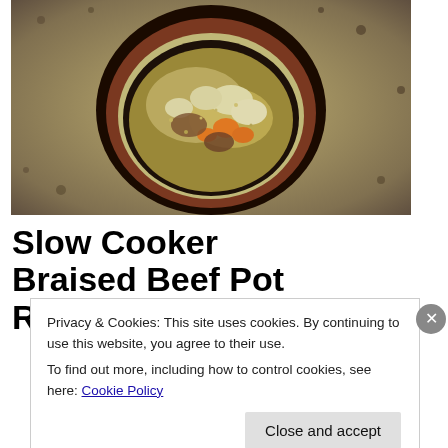[Figure (photo): Overhead photo of a bowl of slow cooker braised beef pot roast with potatoes, carrots, and other vegetables, served in a dark ceramic bowl on a plate, placed on a granite countertop.]
Slow Cooker Braised Beef Pot Roast
Privacy & Cookies: This site uses cookies. By continuing to use this website, you agree to their use.
To find out more, including how to control cookies, see here: Cookie Policy
Close and accept